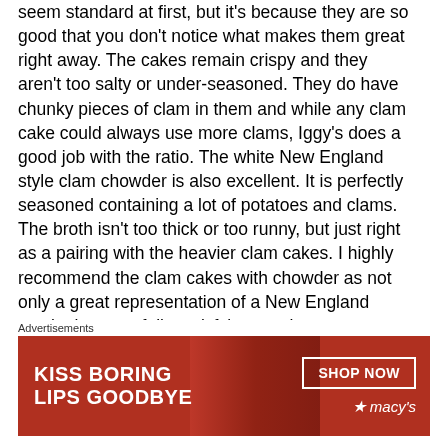seem standard at first, but it's because they are so good that you don't notice what makes them great right away. The cakes remain crispy and they aren't too salty or under-seasoned. They do have chunky pieces of clam in them and while any clam cake could always use more clams, Iggy's does a good job with the ratio. The white New England style clam chowder is also excellent. It is perfectly seasoned containing a lot of potatoes and clams. The broth isn't too thick or too runny, but just right as a pairing with the heavier clam cakes. I highly recommend the clam cakes with chowder as not only a great representation of a New England staple, but as a fully satisfying meal.
Advertisements
[Figure (photo): Advertisement banner for Macy's with red background, text 'KISS BORING LIPS GOODBYE', a 'SHOP NOW' button, and Macy's star logo]